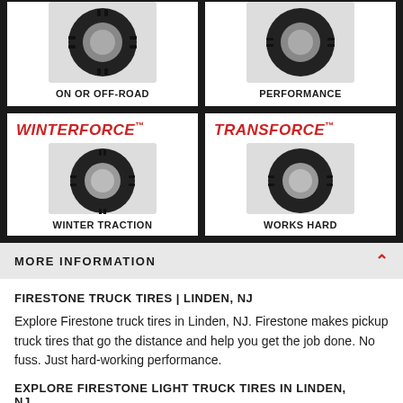[Figure (photo): Tire product card: tire image with label ON OR OFF-ROAD]
[Figure (photo): Tire product card: tire image with label PERFORMANCE]
[Figure (photo): Tire product card: WINTERFORCE brand tire with label WINTER TRACTION]
[Figure (photo): Tire product card: TRANSFORCE brand tire with label WORKS HARD]
MORE INFORMATION
FIRESTONE TRUCK TIRES | LINDEN, NJ
Explore Firestone truck tires in Linden, NJ. Firestone makes pickup truck tires that go the distance and help you get the job done. No fuss. Just hard-working performance.
EXPLORE FIRESTONE LIGHT TRUCK TIRES IN LINDEN, NJ